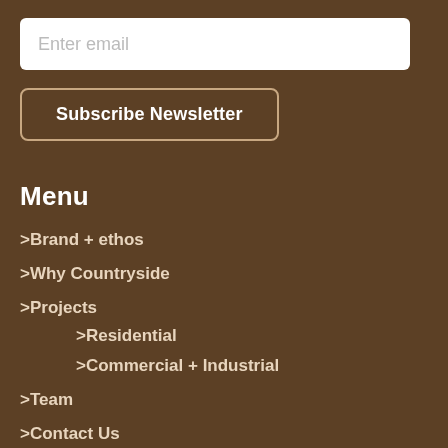Enter email
Subscribe Newsletter
Menu
Brand + ethos
Why Countryside
Projects
Residential
Commercial + Industrial
Team
Contact Us